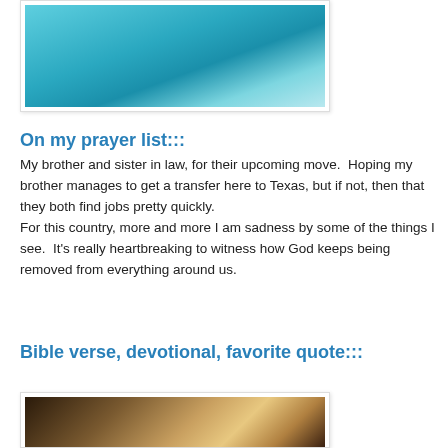[Figure (photo): Top portion of a blue object (possibly a mug or container) against an outdoor background, cropped to show only the top part.]
On my prayer list:::
My brother and sister in law, for their upcoming move.  Hoping my brother manages to get a transfer here to Texas, but if not, then that they both find jobs pretty quickly.
For this country, more and more I am sadness by some of the things I see.  It's really heartbreaking to witness how God keeps being removed from everything around us.
Bible verse, devotional, favorite quote:::
[Figure (photo): A partially visible photograph, possibly showing a page of a book or Bible with warm ambient lighting.]